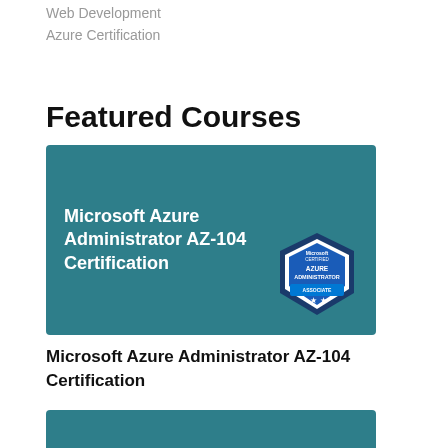Web Development
Azure Certification
Featured Courses
[Figure (illustration): Microsoft Azure Administrator AZ-104 Certification course banner image with teal background, white bold text on left, and Microsoft Certified Azure Administrator Associate badge on lower right]
Microsoft Azure Administrator AZ-104 Certification
[Figure (illustration): Second course card partially visible, teal background]